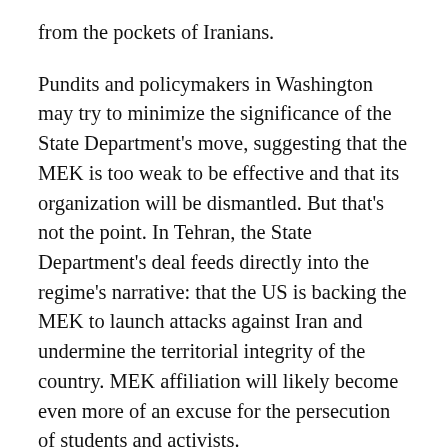from the pockets of Iranians.
Pundits and policymakers in Washington may try to minimize the significance of the State Department's move, suggesting that the MEK is too weak to be effective and that its organization will be dismantled. But that's not the point. In Tehran, the State Department's deal feeds directly into the regime's narrative: that the US is backing the MEK to launch attacks against Iran and undermine the territorial integrity of the country. MEK affiliation will likely become even more of an excuse for the persecution of students and activists.
Its ironic that after thirty years, just as the regime's narrative of the US as the evil empire bent on destroying Iran was heading into the dustbin, it is the US itself that has given the narrative a new lease